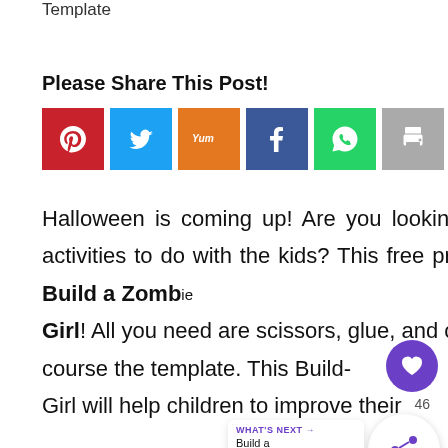Template
Please Share This Post!
[Figure (other): Social share buttons: Pinterest (red), Twitter (blue), Yummly (orange), Facebook (dark blue), WhatsApp (green), Print (gray)]
Halloween is coming up! Are you looking for some fun activities to do with the kids? This free printable lets you Build a Zombie Girl! All you need are scissors, glue, and of course the template. This Build-a-Zombie Girl will help children to improve their